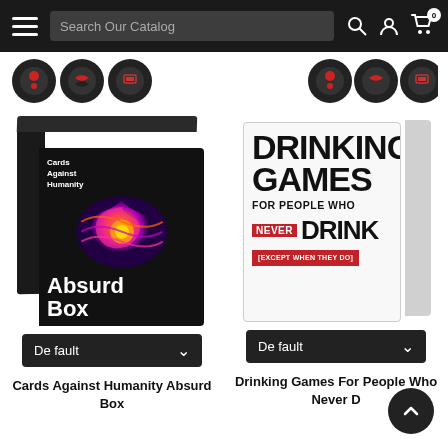Search Our Catalog
[Figure (screenshot): Dark icon/badge row with red and dark circular icons]
[Figure (photo): Cards Against Humanity Absurd Box product image — black box with colorful star graphic]
[Figure (photo): Drinking Games For People Who Never Drink [Except When They Do] product image — white/gray box with bold black and red typography]
Default
Default
Cards Against Humanity Absurd Box
Drinking Games For People Who Never D...